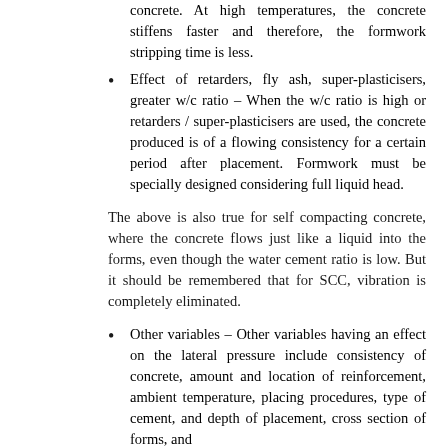concrete. At high temperatures, the concrete stiffens faster and therefore, the formwork stripping time is less.
Effect of retarders, fly ash, super-plasticisers, greater w/c ratio – When the w/c ratio is high or retarders / super-plasticisers are used, the concrete produced is of a flowing consistency for a certain period after placement. Formwork must be specially designed considering full liquid head.
The above is also true for self compacting concrete, where the concrete flows just like a liquid into the forms, even though the water cement ratio is low. But it should be remembered that for SCC, vibration is completely eliminated.
Other variables – Other variables having an effect on the lateral pressure include consistency of concrete, amount and location of reinforcement, ambient temperature, placing procedures, type of cement, and depth of placement, cross section of forms, and